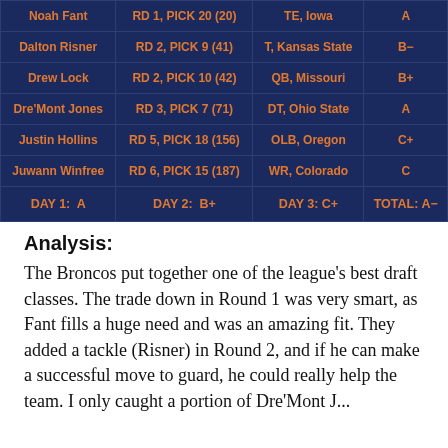| Player | Pick | Position/School | Grade |
| --- | --- | --- | --- |
| Noah Fant | RD 1, PICK 20 (20) | TE, Iowa | A |
| Dalton Risner | RD 2, PICK 9 (41) | T, Kansas State | B- |
| Drew Lock | RD 2, PICK 10 (42) | QB, Missouri | B+ |
| Dre'Mont Jones | RD 3, PICK 7 (71) | DT, Ohio State | A |
| Justin Hollins | RD 5, PICK 18 (156) | OLB, Oregon | C+ |
| Juwann Winfree | RD 6, PICK 15 (187) | WR, Colorado | C |
| DAY 1: A | DAY 2: B+ | DAY 3: C+ | TOTAL: A- |
Analysis:
The Broncos put together one of the league's best draft classes. The trade down in Round 1 was very smart, as Fant fills a huge need and was an amazing fit. They added a tackle (Risner) in Round 2, and if he can make a successful move to guard, he could really help the team. I only caught a portion of Dre'Mont J...